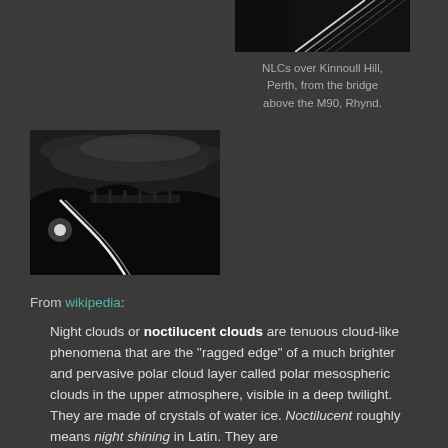[Figure (photo): Aerial/highway night photo at top right, black and white, showing light trails on a road]
NLCs over Kinnoull Hill, Perth, from the bridge above the M90, Rhynd.
[Figure (photo): Night landscape photo on the left showing a winding road with light trails and dark hills with clouds]
From wikipedia:
Night clouds or noctilucent clouds are tenuous cloud-like phenomena that are the "ragged edge" of a much brighter and pervasive polar cloud layer called polar mesospheric clouds in the upper atmosphere, visible in a deep twilight. They are made of crystals of water ice. Noctilucent roughly means night shining in Latin. They are